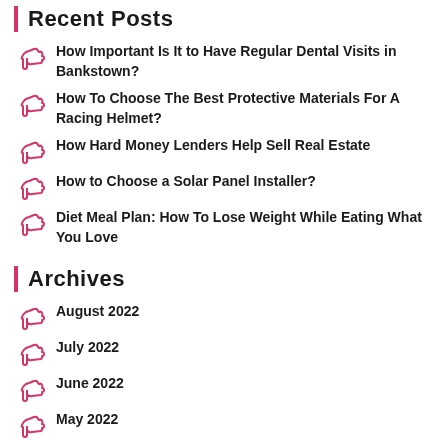Recent Posts
How Important Is It to Have Regular Dental Visits in Bankstown?
How To Choose The Best Protective Materials For A Racing Helmet?
How Hard Money Lenders Help Sell Real Estate
How to Choose a Solar Panel Installer?
Diet Meal Plan: How To Lose Weight While Eating What You Love
Archives
August 2022
July 2022
June 2022
May 2022
April 2022